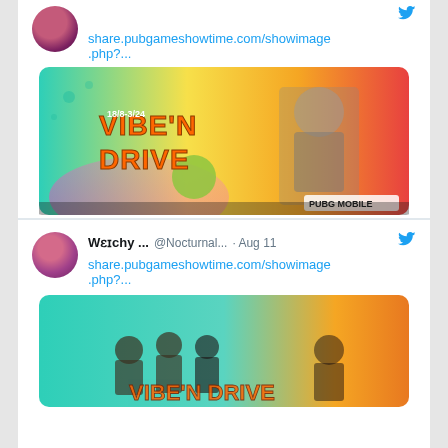[Figure (screenshot): Twitter/social media feed showing two tweets about PUBG Mobile Vibe'N Drive promotion. First tweet shows a profile avatar and a link share.pubgameshowtime.com/showimage.php?... with a PUBG Mobile 'Vibe'N Drive' promotional image. Second tweet from Weɩchy ... @Nocturnal... Aug 11 with same link and another PUBG Mobile promotional image showing characters.]
share.pubgameshowtime.com/showimage.php?...
[Figure (photo): PUBG Mobile Vibe'N Drive promotional banner with colorful teal, yellow, orange, pink background, armored character, event date 18/8-3/24, PUBG MOBILE logo]
Weɩchy ... @Nocturnal... · Aug 11
share.pubgameshowtime.com/showimage.php?...
[Figure (photo): PUBG Mobile promotional banner showing group of characters in colorful teal and orange background]